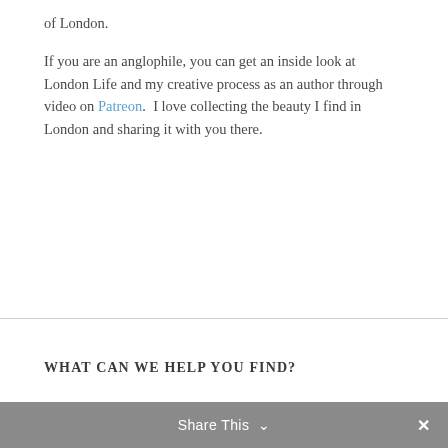of London.
If you are an anglophile, you can get an inside look at London Life and my creative process as an author through video on Patreon.  I love collecting the beauty I find in London and sharing it with you there.
WHAT CAN WE HELP YOU FIND?
Share This ∨  ✕